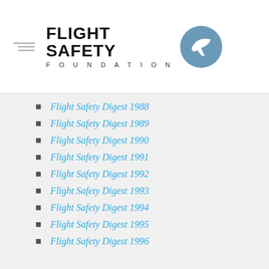[Figure (logo): Flight Safety Foundation logo with circular icon containing a checkmark/airplane graphic and bold text reading FLIGHT SAFETY FOUNDATION]
Flight Safety Digest 1988
Flight Safety Digest 1989
Flight Safety Digest 1990
Flight Safety Digest 1991
Flight Safety Digest 1992
Flight Safety Digest 1993
Flight Safety Digest 1994
Flight Safety Digest 1995
Flight Safety Digest 1996